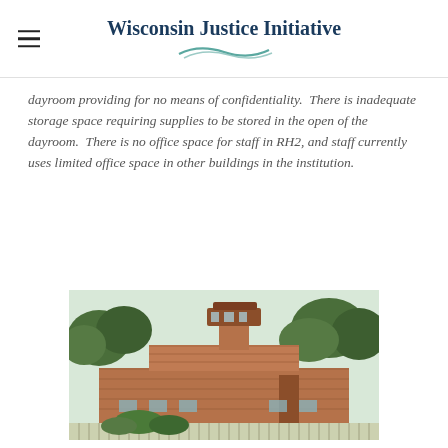Wisconsin Justice Initiative
dayroom providing for no means of confidentiality.  There is inadequate storage space requiring supplies to be stored in the open of the dayroom.  There is no office space for staff in RH2, and staff currently uses limited office space in other buildings in the institution.
[Figure (photo): Exterior photo of a prison building with a guard tower, brick walls, fencing, and trees in the background.]